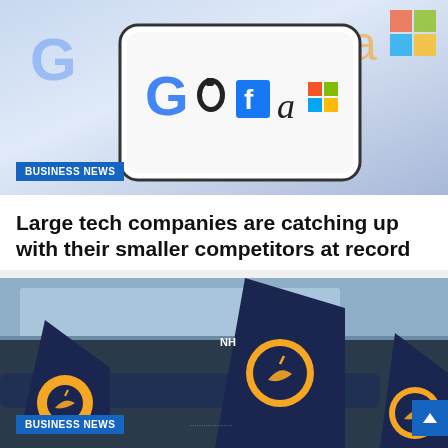[Figure (photo): Smartphone screen showing tech company logos including Google, Apple, Facebook, Amazon, Microsoft, with other logos in background]
BUSINESS NEWS
Large tech companies are catching up with their smaller competitors at record pace
12 months ago  eduardo_alves38
[Figure (photo): Lufthansa aircraft tail fins at airport showing the yellow circle crane logo on dark blue tails, with NH marking visible]
BUSINESS NEWS